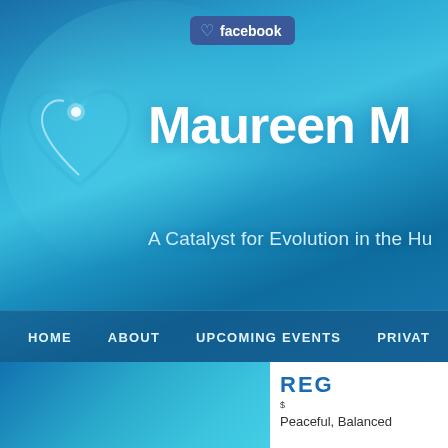[Figure (screenshot): Website header screenshot for Maureen M - A Catalyst for Evolution in the Hu[man...], with a Facebook badge, glowing heart logo, navigation bar with HOME, ABOUT, UPCOMING EVENTS, PRIVAT[E...], and a lower content section showing REG[ISTER...], and 'Peaceful, Balanced...' text on a teal/blue gradient background.]
facebook
Maureen M
A Catalyst for Evolution in the Hu
HOME   ABOUT   UPCOMING EVENTS   PRIVAT
REG
Peaceful, Balanced